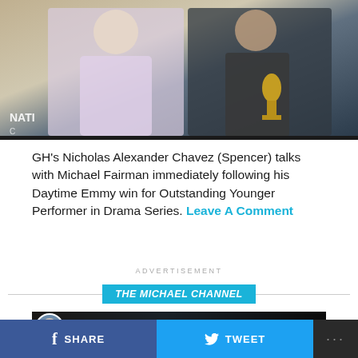[Figure (photo): Photo of people at an awards event, one person holding an Emmy award, with NATI... visible on backdrop]
GH's Nicholas Alexander Chavez (Spencer) talks with Michael Fairman immediately following his Daytime Emmy win for Outstanding Younger Performer in Drama Series. Leave A Comment
ADVERTISEMENT
[Figure (infographic): THE MICHAEL CHANNEL banner with horizontal lines on both sides]
[Figure (screenshot): YouTube video thumbnail showing Brook Kerr and Tabyana Ali Intervi... with two people visible and a play button]
SHARE   TWEET   ...